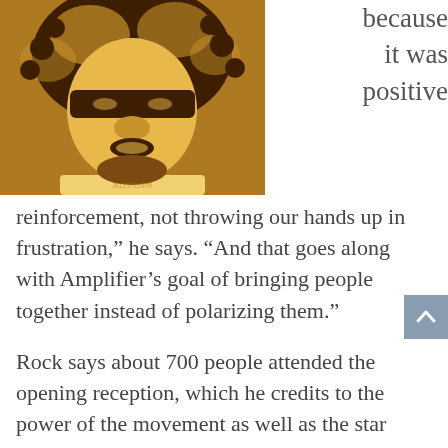[Figure (illustration): Stylized pop-art illustration of a person with an afro hairstyle, rendered in warm golden, brown and dark brown tones in a poster/stencil style.]
because it was positive
reinforcement, not throwing our hands up in frustration,” he says. “And that goes along with Amplifier’s goal of bringing people together instead of polarizing them.”
Rock says about 700 people attended the opening reception, which he credits to the power of the movement as well as the star power of the likes of Fairey, Sabogal, Ernesto Yerena and the many talented artists who contributed to the Amplifier Project..